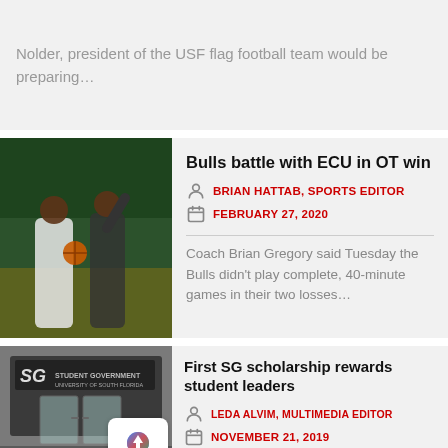Nolder, president of the USF flag football team would be preparing...
[Figure (photo): Basketball game photo showing USF player with ball being defended]
Bulls battle with ECU in OT win
BRIAN HATTAB, SPORTS EDITOR
FEBRUARY 27, 2020
Coach Brian Gregory said Tuesday the Bulls didn't play complete, 40-minute games in their two losses...
[Figure (photo): Student Government building entrance with SG logo and University of South Florida sign]
First SG scholarship rewards student leaders
LEDA ALVIM, MULTIMEDIA EDITOR
NOVEMBER 21, 2019
Student Government (SG) launched